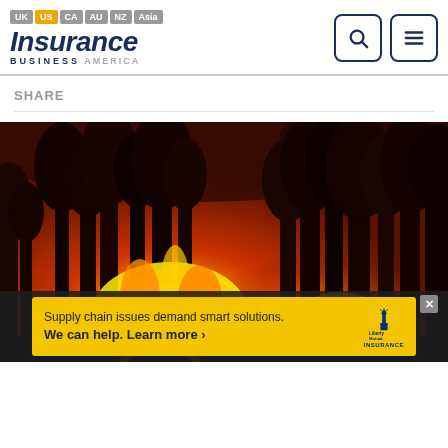UK US CA AU NZ Asia — Insurance Business America
SHARE
[Figure (photo): Wildfire at night — trees silhouetted against intense orange and red flames and smoke-filled sky]
[Figure (infographic): Advertisement banner: Supply chain issues demand smart solutions. We can help. Learn more > — Liberty Mutual Insurance]